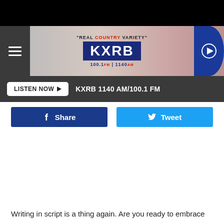[Figure (logo): KXRB radio station header banner with tagline 'REAL COUNTRY VARIETY', KXRB logo, 100.1 FM | 1140 AM frequency, hamburger menu icon and play button]
LISTEN NOW ▶   KXRB 1140 AM/100.1 FM
Share
Tweet
Writing in script is a thing again. Are you ready to embrace